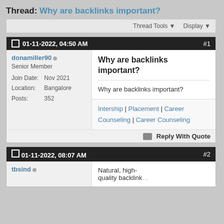Thread: Why are backlinks important?
Thread Tools ▼  Display ▼
01-11-2022, 04:50 AM  #1
donamiller90
Senior Member
Join Date: Nov 2021
Location: Bangalore
Posts: 352
Why are backlinks important?
Why are backlinks important?
Intership | Placement | Career Counseling | Career Counseling
Reply With Quote
01-11-2022, 08:07 AM  #2
tbsind
Natural, high-quality backlinks...